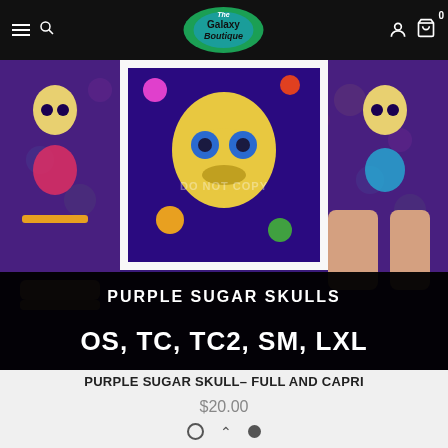The Galaxy Boutique — navigation bar with hamburger menu, search, logo, account, and cart icons (cart shows 0)
[Figure (photo): Product photo collage of purple sugar skull printed leggings: three panels showing legs wearing the colorful skull-and-floral print leggings and a fabric swatch closeup with 'DO NOT COPY' watermark. An overlay black banner at the bottom reads 'PURPLE SUGAR SKULLS' then 'OS, TC, TC2, SM, LXL' in large bold white text.]
PURPLE SUGAR SKULL– FULL AND CAPRI
$20.00
Carousel dots navigation: open circle, chevron up arrow, filled circle